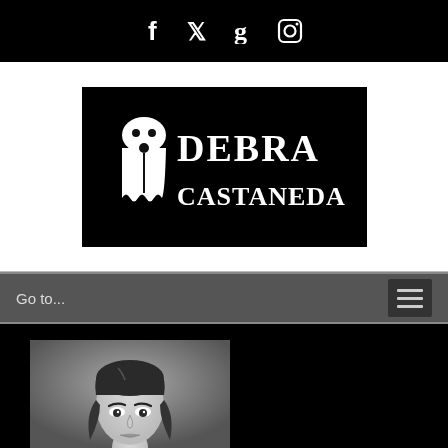Social media icons: Facebook, Twitter, Goodreads, Instagram
[Figure (logo): Debra Castaneda author logo — black background with white ghost figure and text 'DEBRA CASTANEDA']
Go to...
[Figure (photo): Black and white portrait photo of a woman with dark hair, partially visible at bottom of page on black background]